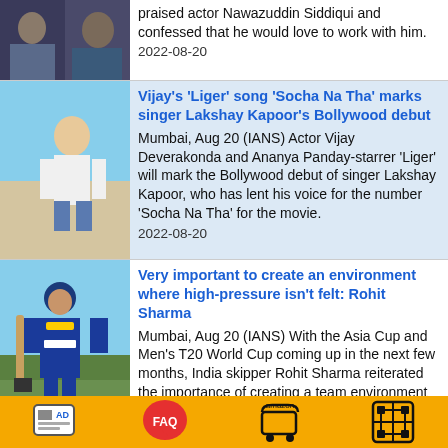praised actor Nawazuddin Siddiqui and confessed that he would love to work with him. 2022-08-20
Vijay's 'Liger' song 'Socha Na Tha' marks singer Lakshay Kapoor's Bollywood debut
Mumbai, Aug 20 (IANS) Actor Vijay Deverakonda and Ananya Panday-starrer 'Liger' will mark the Bollywood debut of singer Lakshay Kapoor, who has lent his voice for the number 'Socha Na Tha' for the movie. 2022-08-20
Very important to create an environment where high-pressure isn't felt: Rohit Sharma
Mumbai, Aug 20 (IANS) With the Asia Cup and Men's T20 World Cup coming up in the next few months, India skipper Rohit Sharma reiterated the importance of creating a team environment where the high-pressure of such marquee events wasn't felt within the side. 2022-08-20
After Mohanlal, Maddy calls IAC Vikrant an engineering marvel